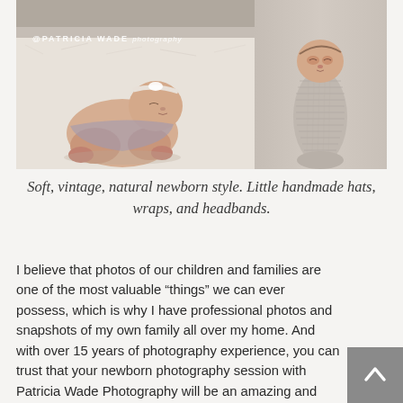[Figure (photo): Newborn photography collage: left panel shows a sleeping newborn baby girl with a white headband lying on white fur with '@PATRICIA WADE photography' watermark; right panel shows a wrapped sleeping newborn baby in a gray knit wrap standing upright against a beige background.]
Soft, vintage, natural newborn style. Little handmade hats, wraps, and headbands.
I believe that photos of our children and families are one of the most valuable “things” we can ever possess, which is why I have professional photos and snapshots of my own family all over my home. And with over 15 years of photography experience, you can trust that your newborn photography session with Patricia Wade Photography will be an amazing and rewarding experience, giving you the most beautiful photos of your perfect, new baby. But I believe so much in the importance of newborn and family photos, that even if you do not book your session with me, I would still